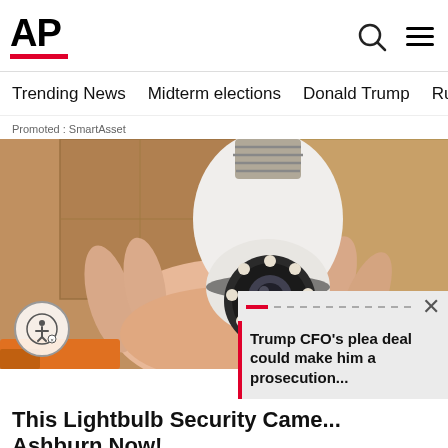AP
Trending News   Midterm elections   Donald Trump   Russia-Ukr
Promoted : SmartAsset
[Figure (photo): A hand holding a lightbulb-shaped security camera with a circular lens array, screw-in base visible at top, against a cardboard background]
This Lightbulb Security Came... Ashburn Now!
Promoted : Keillini
Trump CFO's plea deal could make him a prosecution...